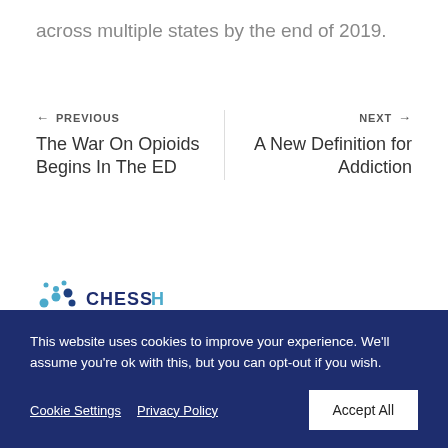across multiple states by the end of 2019.
← PREVIOUS
The War On Opioids Begins In The ED
NEXT →
A New Definition for Addiction
[Figure (logo): CHESS Health logo with blue dot pattern and stylized text]
This website uses cookies to improve your experience. We'll assume you're ok with this, but you can opt-out if you wish.
Cookie Settings   Privacy Policy   Accept All